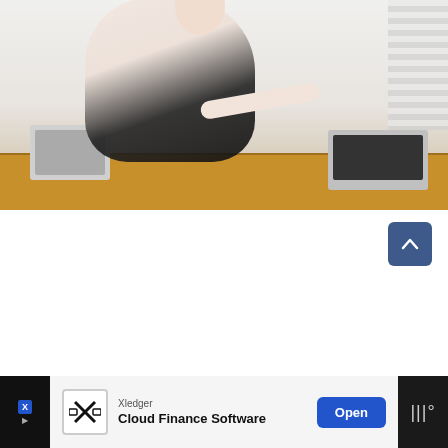[Figure (photo): Woman standing and leaning over a desk, holding her lower back with one hand and touching a laptop keyboard with the other. Two laptops and a smartphone visible on a wooden desk. Office setting with window blinds in background.]
What's the Proper Desk Posture? (Explained)
By Katie Barrington / Uncategorized / Updated August 2, 2022
[Figure (other): Advertisement banner: Xledger Cloud Finance Software with Open button. Dark background on left and right sides.]